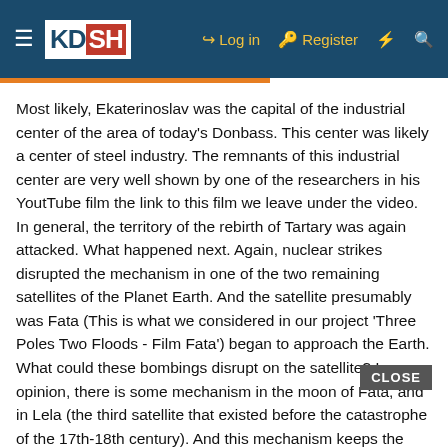KDSH — Log in | Register
Most likely, Ekaterinoslav was the capital of the industrial center of the area of today's Donbass. This center was likely a center of steel industry. The remnants of this industrial center are very well shown by one of the researchers in his YoutTube film the link to this film we leave under the video. In general, the territory of the rebirth of Tartary was again attacked. What happened next. Again, nuclear strikes disrupted the mechanism in one of the two remaining satellites of the Planet Earth. And the satellite presumably was Fata (This is what we considered in our project 'Three Poles Two Floods - Film Fata') began to approach the Earth. What could these bombings disrupt on the satellite? In my opinion, there is some mechanism in the moon of Fata, and in Lela (the third satellite that existed before the catastrophe of the 17th-18th century). And this mechanism keeps the satellite in its orbit around the Earth, preventing the moon from colliding with it. The moon revolves around the earth in an elliptical orbit and approaches at certain points to the earth at a minimum distance, where gravity of the moon on the earth is very strong,